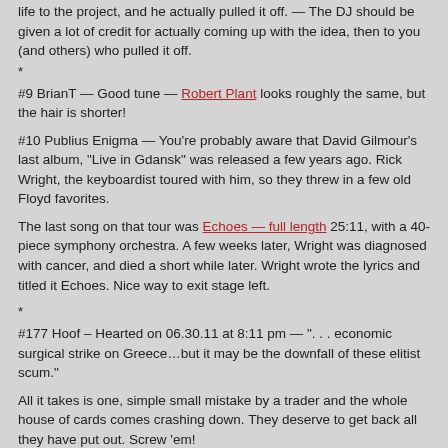life to the project, and he actually pulled it off. — The DJ should be given a lot of credit for actually coming up with the idea, then to you (and others) who pulled it off.
*
#9 BrianT — Good tune — Robert Plant looks roughly the same, but the hair is shorter!
#10 Publius Enigma — You're probably aware that David Gilmour's last album, "Live in Gdansk" was released a few years ago. Rick Wright, the keyboardist toured with him, so they threw in a few old Floyd favorites.
The last song on that tour was Echoes — full length 25:11, with a 40-piece symphony orchestra. A few weeks later, Wright was diagnosed with cancer, and died a short while later. Wright wrote the lyrics and titled it Echoes. Nice way to exit stage left.
*
#177 Hoof – Hearted on 06.30.11 at 8:11 pm — ". . . economic surgical strike on Greece…but it may be the downfall of these elitist scum."
All it takes is one, simple small mistake by a trader and the whole house of cards comes crashing down. They deserve to get back all they have put out. Screw 'em!